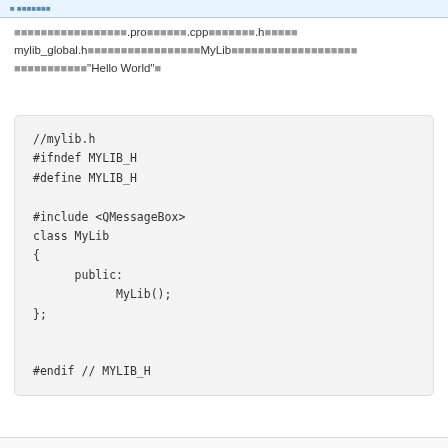■ ■■■■■■■
■■■■■■■■■■■■■■■■■.pro■■■■■■.cpp■■■■■■■.h■■■■■ mylib_global.h■■■■■■■■■■■■■■■■■MyLib■■■■■■■■■■■■■■■■■■■ ■■■■■■■■■■■"Hello World"■
[Figure (screenshot): Code block showing mylib.h header file with #ifndef MYLIB_H, #define MYLIB_H, #include <QMessageBox>, class MyLib with public constructor MyLib(), and #endif // MYLIB_H]